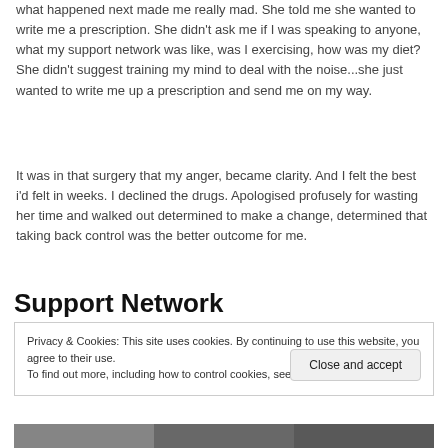what happened next made me really mad. She told me she wanted to write me a prescription. She didn't ask me if I was speaking to anyone, what my support network was like, was I exercising, how was my diet? She didn't suggest training my mind to deal with the noise...she just wanted to write me up a prescription and send me on my way.
It was in that surgery that my anger, became clarity. And I felt the best i'd felt in weeks. I declined the drugs. Apologised profusely for wasting her time and walked out determined to make a change, determined that taking back control was the better outcome for me.
Support Network
Privacy & Cookies: This site uses cookies. By continuing to use this website, you agree to their use.
To find out more, including how to control cookies, see here: Cookie Policy
[Figure (photo): Partial photo strip at bottom of page, showing outdoor/nature scene]